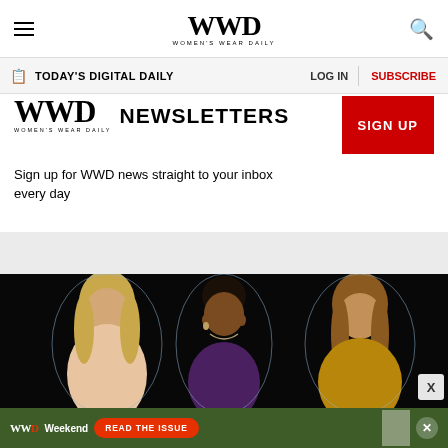WWD WOMEN'S WEAR DAILY
TODAY'S DIGITAL DAILY   LOG IN   SUBSCRIBE
WWD NEWSLETTERS
Sign up for WWD news straight to your inbox every day
[Figure (photo): Three women photographed against a dark background]
[Figure (infographic): WWD Weekend advertisement banner: READ THE ISSUE]